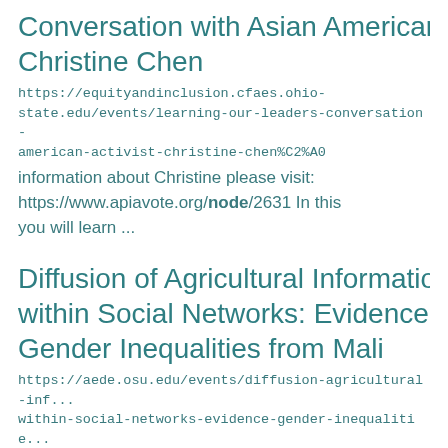Conversation with Asian American A... Christine Chen
https://equityandinclusion.cfaes.ohio-state.edu/events/learning-our-leaders-conversation-american-activist-christine-chen%C2%A0
information about Christine please visit: https://www.apiavote.org/node/2631 In this you will learn ...
Diffusion of Agricultural Informatio... within Social Networks: Evidence on... Gender Inequalities from Mali
https://aede.osu.edu/events/diffusion-agricultural-inf... within-social-networks-evidence-gender-inequalitie...
central nodes in a network. After implementi...